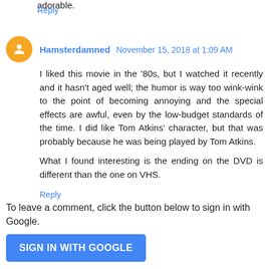adorable.
Reply
Hamsterdamned November 15, 2018 at 1:09 AM
I liked this movie in the '80s, but I watched it recently and it hasn't aged well; the humor is way too wink-wink to the point of becoming annoying and the special effects are awful, even by the low-budget standards of the time. I did like Tom Atkins' character, but that was probably because he was being played by Tom Atkins.

What I found interesting is the ending on the DVD is different than the one on VHS.
Reply
To leave a comment, click the button below to sign in with Google.
SIGN IN WITH GOOGLE